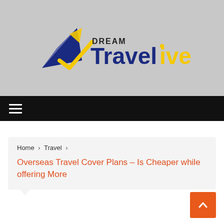[Figure (logo): Dream Travelive logo with paper plane icon in dark blue and yellow, text 'DREAM Travelive' where 'Travel' is dark blue and 'ive' is yellow, on a light gray background]
[Figure (other): Black navigation bar with white hamburger menu icon (three horizontal lines)]
Home > Travel > Overseas Travel Cover Plans – Is Cheaper while offering More